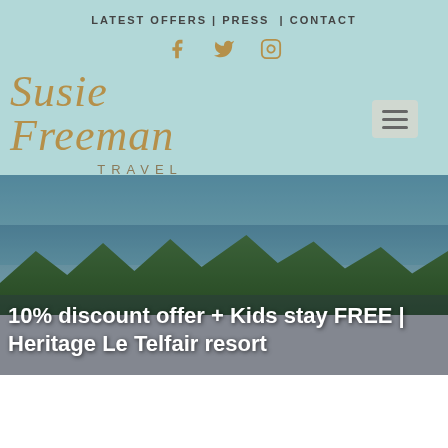LATEST OFFERS | PRESS | CONTACT
[Figure (logo): Susie Freeman Travel logo in gold cursive script with TRAVEL in spaced capitals below]
[Figure (photo): Beach resort photo showing ocean, palm trees, and beach umbrellas with text overlay: 10% discount offer + Kids stay FREE | Heritage Le Telfair resort]
10% discount offer + Kids stay FREE | Heritage Le Telfair resort